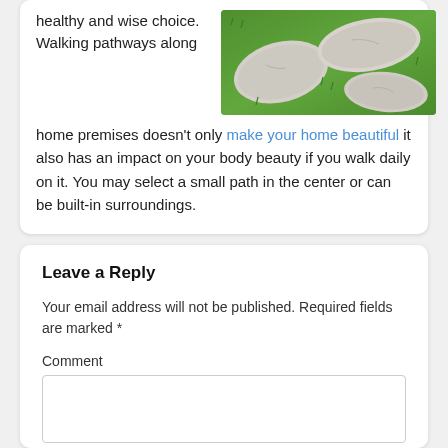healthy and wise choice. Walking pathways along home premises doesn't only make your home beautiful it also has an impact on your body beauty if you walk daily on it. You may select a small path in the center or can be built-in surroundings.
[Figure (photo): Stepping stone pathway through green grass lawn]
Leave a Reply
Your email address will not be published. Required fields are marked *
Comment